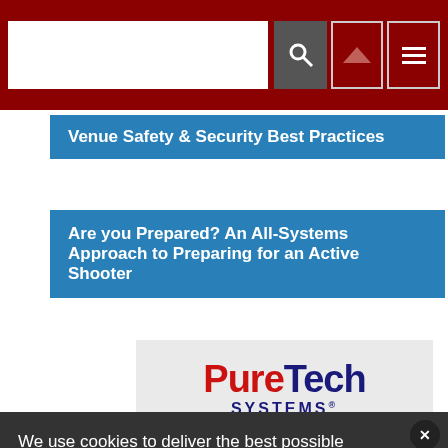Search bar with navigation buttons
Venue Safety & Security Best Practices
Are you Prepared? An All-Systems Approach to Preparing for an Active Shooter
[Figure (logo): PureTech Systems logo with DETECT VERIFY DETER tagline]
We use cookies to deliver the best possible experience on our website. By continuing to use this site, accepting or closing this box, you consent to our use of cookies. To learn more, visit our privacy policy.
Accept All